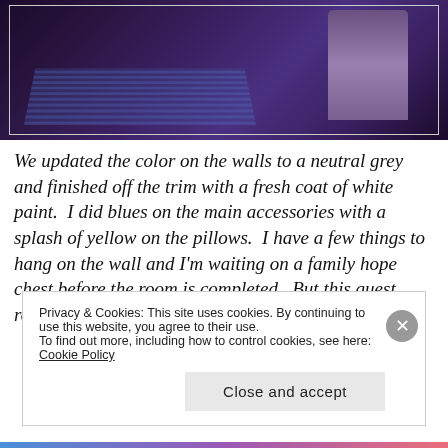[Figure (photo): Partial view of a bedroom with striped rug and draped fabric/curtain in dark purple and blue tones]
We updated the color on the walls to a neutral grey and finished off the trim with a fresh coat of white paint.  I did blues on the main accessories with a splash of yellow on the pillows.  I have a few things to hang on the wall and I'm waiting on a family hope chest before the room is completed.  But this guest room has come a long way, baby.
Privacy & Cookies: This site uses cookies. By continuing to use this website, you agree to their use.
To find out more, including how to control cookies, see here: Cookie Policy
Close and accept